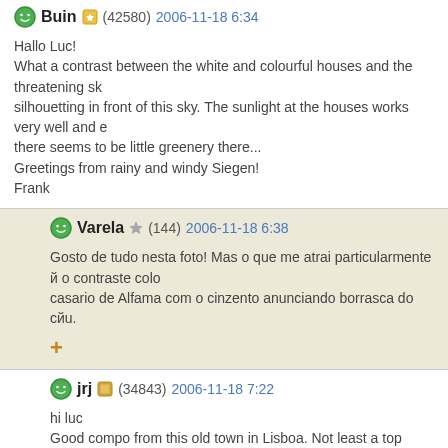Buin (42580) 2006-11-18 6:34
Hallo Luc!
What a contrast between the white and colourful houses and the threatening sk... silhouetting in front of this sky. The sunlight at the houses works very well and e... there seems to be little greenery there...
Greetings from rainy and windy Siegen!
Frank
Varela (144) 2006-11-18 6:38
Gosto de tudo nesta foto! Mas o que me atrai particularmente й o contraste colo... casario de Alfama com o cinzento anunciando borrasca do сйu.
+
jrj (34843) 2006-11-18 7:22
hi luc
Good compo from this old town in Lisboa. Not least a top background with the c... included.
Floydian (30970) 2006-11-18 8:20